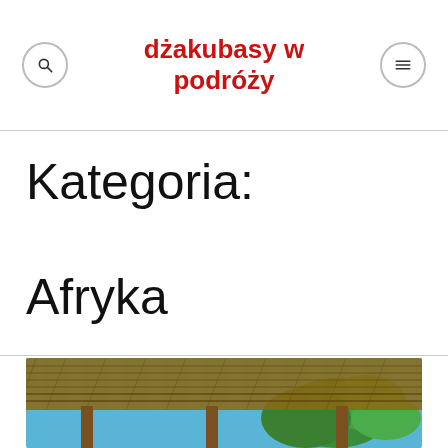dżakubasy w podróży
Kategoria: Afryka
[Figure (photo): Photo showing a thatched roof pergola structure with wooden posts, and palm trees and blue sky visible in the background below]